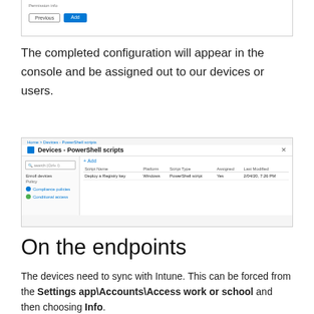[Figure (screenshot): A dialog or form screenshot showing Previous and Add buttons at the bottom]
The completed configuration will appear in the console and be assigned out to our devices or users.
[Figure (screenshot): Devices - PowerShell scripts console view showing a script named 'Deploy a Registry key', Platform: Windows, Script Type: PowerShell script, Assigned: Yes, Last Modified: 2/04/20, 7:26 PM]
On the endpoints
The devices need to sync with Intune. This can be forced from the Settings app\Accounts\Access work or school and then choosing Info.